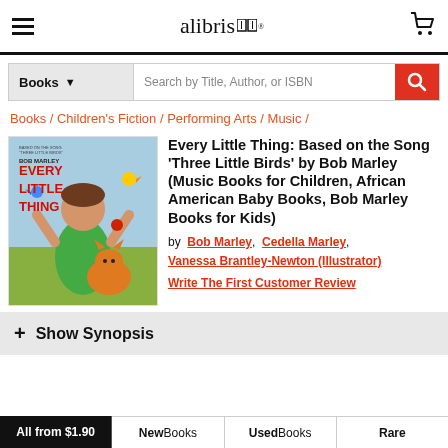alibris
Books | Search by Title, Author, or ISBN
Books / Children's Fiction / Performing Arts / Music /
[Figure (illustration): Book cover for 'Every Little Thing' by Bob Marley, showing a child with arms raised and an orange cat, with red bold text reading EVERY LITTLE THING]
Every Little Thing: Based on the Song 'Three Little Birds' by Bob Marley (Music Books for Children, African American Baby Books, Bob Marley Books for Kids)
by Bob Marley, Cedella Marley, Vanessa Brantley-Newton (Illustrator)
Write The First Customer Review
+ Show Synopsis
All from $1.90  New Books  Used Books  Rare